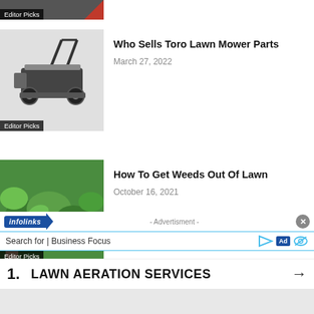[Figure (photo): Partial cropped image at top with Editor Picks badge visible]
[Figure (photo): Lawn mower image with Editor Picks badge]
Who Sells Toro Lawn Mower Parts
March 27, 2022
[Figure (photo): Hand touching weeds in green lawn with Editor Picks badge]
How To Get Weeds Out Of Lawn
October 16, 2021
- Advertisment -
Search for | Business Focus
1. LAWN AERATION SERVICES →